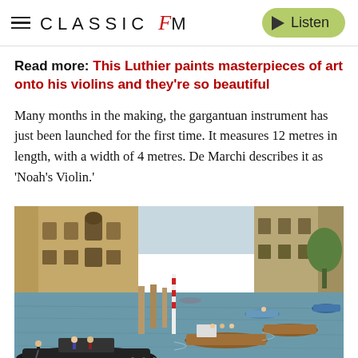CLASSIC fM  Listen
Read more: This Luthier paints masterpieces of art onto his violins and they're so beautiful
Many months in the making, the gargantuan instrument has just been launched for the first time. It measures 12 metres in length, with a width of 4 metres. De Marchi describes it as 'Noah's Violin.'
[Figure (photo): Aerial view of Venice Grand Canal with multiple boats, gondolas, and wooden vessels on turquoise water, flanked by historic Venetian buildings on the left.]